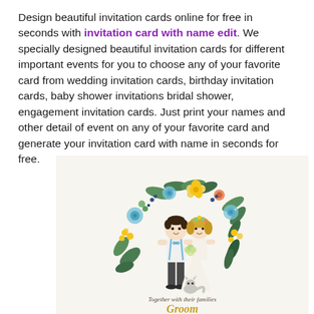Design beautiful invitation cards online for free in seconds with invitation card with name edit. We specially designed beautiful invitation cards for different important events for you to choose any of your favorite card from wedding invitation cards, birthday invitation cards, baby shower invitations bridal shower, engagement invitation cards. Just print your names and other detail of event on any of your favorite card and generate your invitation card with name in seconds for free.
[Figure (illustration): Wedding invitation card illustration showing a groom and bride in cartoon style under a floral wreath arch made of colorful flowers and leaves. A small cat sits at their feet. Below the couple is text reading 'Together with their families' and 'Groom' in gold script lettering.]